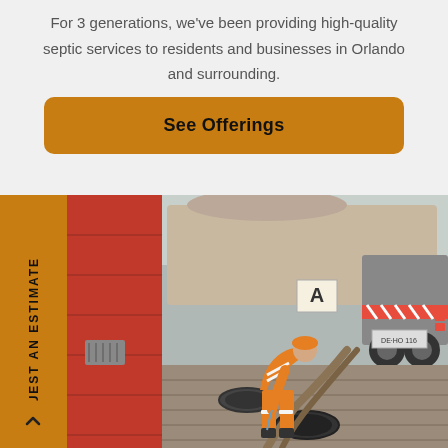For 3 generations, we've been providing high-quality septic services to residents and businesses in Orlando and surrounding.
See Offerings
[Figure (photo): Worker in orange high-visibility gear using a hose to service a sewer manhole next to a large vacuum truck parked on a brick sidewalk beside a red building.]
REQUEST AN ESTIMATE